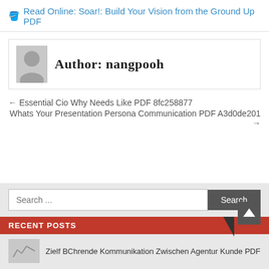🪣 Read Online: Soar!: Build Your Vision from the Ground Up PDF
Author: nangpooh
← Essential Cio Why Needs Like PDF 8fc258877
Whats Your Presentation Persona Communication PDF A3d0de201 →
Search ...
RECENT POSTS
Zielf BChrende Kommunikation Zwischen Agentur Kunde PDF